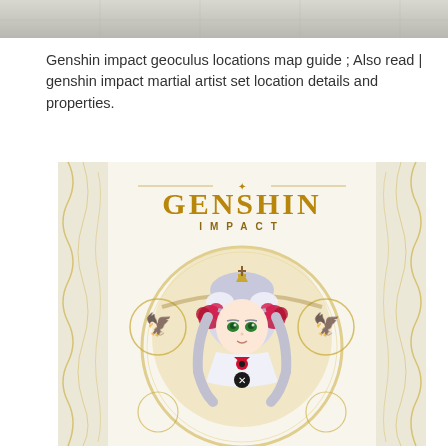[Figure (photo): Top portion of a partially visible image, appears to be a floor or surface with light grey tones]
Genshin impact geoculus locations map guide ; Also read | genshin impact martial artist set location details and properties.
[Figure (illustration): Genshin Impact game promotional artwork showing the Genshin Impact logo in gold lettering with a female anime-style character with silver/gray hair, green eyes, red rose hair accessories, wearing a white maid-like outfit with a red bow. The character is framed by ornate gold circular decorative patterns with phoenix/eagle emblems. The background is cream/off-white with decorative scrollwork border on the sides.]